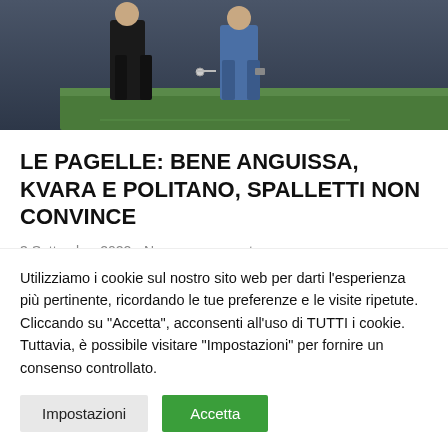[Figure (photo): Two or more people, one wearing black clothing and another in a blue jacket, appearing to interact or exchange something, photographed outdoors]
LE PAGELLE: BENE ANGUISSA, KVARA E POLITANO, SPALLETTI NON CONVINCE
3 Settembre 2022 • Nessun commento
Un buon Napoli torna al successo e si rilancia nella
Utilizziamo i cookie sul nostro sito web per darti l'esperienza più pertinente, ricordando le tue preferenze e le visite ripetute. Cliccando su "Accetta", acconsenti all'uso di TUTTI i cookie. Tuttavia, è possibile visitare "Impostazioni" per fornire un consenso controllato.
Impostazioni | Accetta